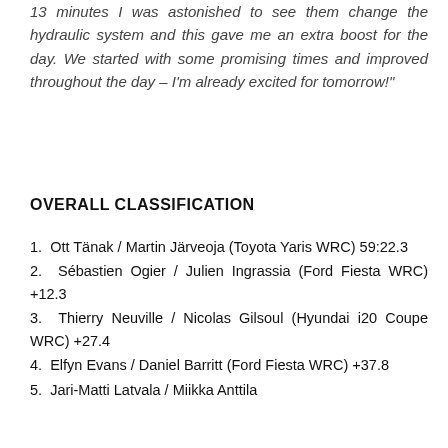13 minutes I was astonished to see them change the hydraulic system and this gave me an extra boost for the day. We started with some promising times and improved throughout the day – I'm already excited for tomorrow!"
OVERALL CLASSIFICATION
1. Ott Tänak / Martin Järveoja (Toyota Yaris WRC) 59:22.3
2. Sébastien Ogier / Julien Ingrassia (Ford Fiesta WRC) +12.3
3. Thierry Neuville / Nicolas Gilsoul (Hyundai i20 Coupe WRC) +27.4
4. Elfyn Evans / Daniel Barritt (Ford Fiesta WRC) +37.8
5. Jari-Matti Latvala / Miikka Anttila